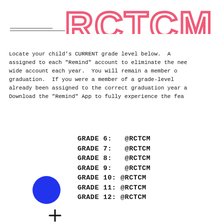RCTCM
Locate your child's CURRENT grade level below. A assigned to each "Remind" account to eliminate the need wide account each year. You will remain a member o graduation. If you were a member of a grade-leve already been assigned to the correct graduation year o Download the "Remind" App to fully experience the feat
GRADE 6:  @RCTCM
GRADE 7:  @RCTCM
GRADE 8:  @RCTCM
GRADE 9:  @RCTCM
GRADE 10: @RCTCM
GRADE 11: @RCTCM
GRADE 12: @RCTCM
[Figure (illustration): Blue filled circle with a plus/cross symbol below and to the right of it, decorative element]